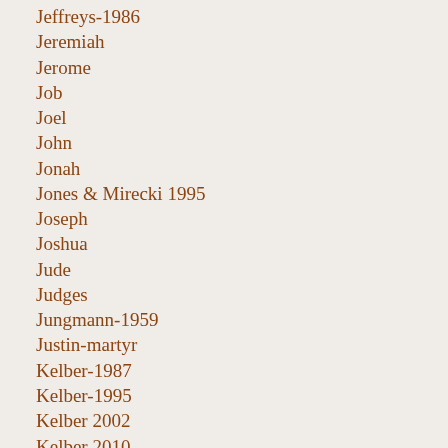Jeffreys-1986
Jeremiah
Jerome
Job
Joel
John
Jonah
Jones & Mirecki 1995
Joseph
Joshua
Jude
Judges
Jungmann-1959
Justin-martyr
Kelber-1987
Kelber-1995
Kelber 2002
Kelber 2010
Kelber & Sanders 2010